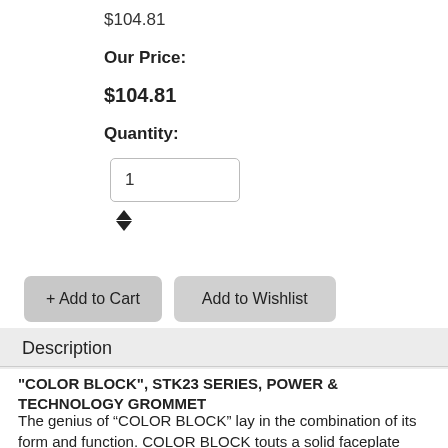$104.81
Our Price:
$104.81
Quantity:
1
+ Add to Cart
Add to Wishlist
Description
"COLOR BLOCK", STK23 SERIES, POWER & TECHNOLOGY GROMMET
The genius of “COLOR BLOCK” lay in the combination of its form and function. COLOR BLOCK touts a solid faceplate construction with simple block profile offered in ten different molded colors to match myriad interiors. With ease of user accessibility, it’s perfect